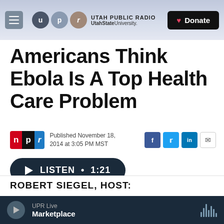UTAH PUBLIC RADIO — UtahState University. — Donate
Americans Think Ebola Is A Top Health Care Problem
Published November 18, 2014 at 3:05 PM MST
LISTEN • 1:21
ROBERT SIEGEL HOST:
UPR Live — Marketplace